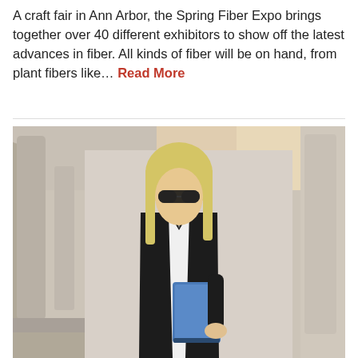A craft fair in Ann Arbor, the Spring Fiber Expo brings together over 40 different exhibitors to show off the latest advances in fiber. All kinds of fiber will be on hand, from plant fibers like... Read More
[Figure (photo): A blonde woman wearing sunglasses and a black leather jacket, holding a blue tablet/iPad, standing in front of large stone columns of a classical building.]